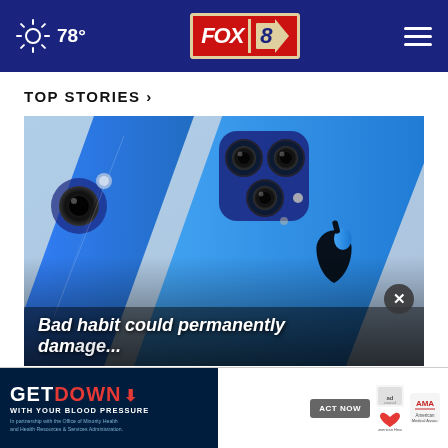78° FOX 8
TOP STORIES ›
[Figure (photo): Close-up photograph of two blue iPhone 12 devices showing the back with Apple logo and triple-camera system]
Bad habit could permanently damage your iPhone
[Figure (infographic): Advertisement banner: GET DOWN WITH YOUR BLOOD PRESSURE - In partnership with the Office of Minority Health and Health Resources & Services Administration - ACT NOW - logos for Ad Council, American Heart Association, AMA]